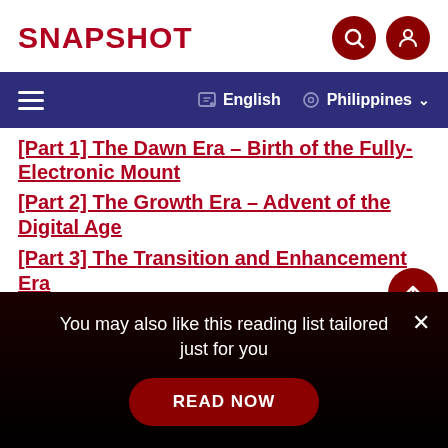SNAPSHOT
[Part 1] The Dawn Era – Birth of the Fully-Electronic Mount
[Part 2] The Growth Era – Advent of the Digital Age
[Part 3] The Transition and Enhancement Era – Lenses for High-resolution Cameras
You may also like this reading list tailored just for you
READ NOW